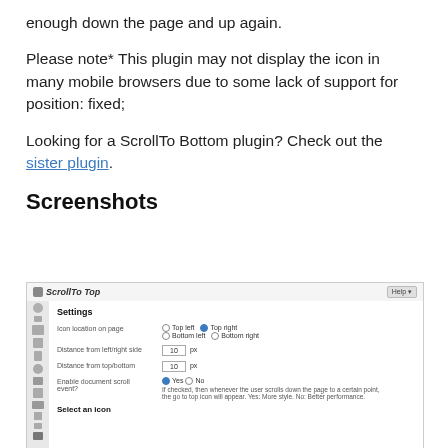enough down the page and up again.
Please note* This plugin may not display the icon in many mobile browsers due to some lack of support for position: fixed;
Looking for a ScrollTo Bottom plugin? Check out the sister plugin.
Screenshots
[Figure (screenshot): Screenshot of ScrollTo Top plugin settings page in WordPress admin, showing icon location, distance from left/right side, distance from top/bottom, enable document scroll event, and select an icon options.]